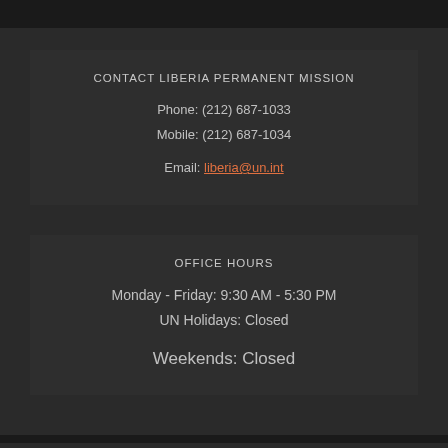CONTACT LIBERIA PERMANENT MISSION
Phone: (212) 687-1033
Mobile: (212) 687-1034
Email: liberia@un.int
OFFICE HOURS
Monday - Friday: 9:30 AM - 5:30 PM
UN Holidays: Closed
Weekends: Closed